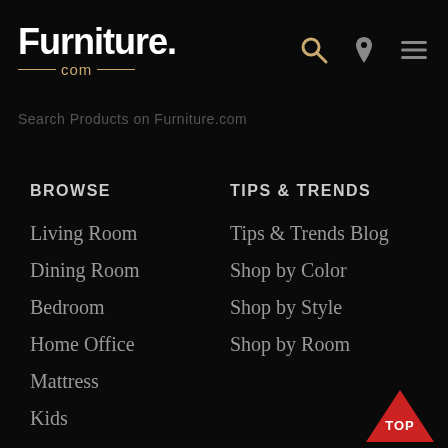[Figure (logo): Furniture.com logo with gold decorative lines and .com in gold]
Search Products on Furniture.com
BROWSE
Living Room
Dining Room
Bedroom
Home Office
Mattress
Kids
Home Decor
Furniture Stores
Collections
Brands
TIPS & TRENDS
Tips & Trends Blog
Shop by Color
Shop by Style
Shop by Room